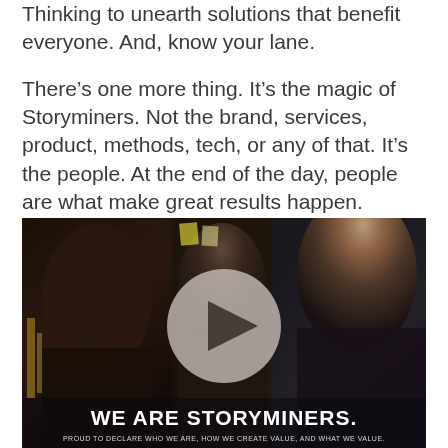Thinking to unearth solutions that benefit everyone. And, know your lane.
There's one more thing. It's the magic of Storyminers. Not the brand, services, product, methods, tech, or any of that. It's the people. At the end of the day, people are what make great results happen. We've got great people—so you can expect great results!
[Figure (photo): Group of people in a collaborative or networking setting, with a video play button overlay in the center. Bottom text reads 'WE ARE STORYMINERS.' and subtitle 'PROUD TO DECLARE WHO WE ARE, HOW WE CREATE VALUE, AND WHAT WE VALUE.']